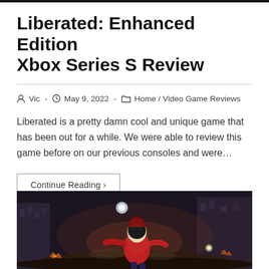Liberated: Enhanced Edition Xbox Series S Review
Vic  ·  May 9, 2022  ·  Home / Video Game Reviews
Liberated is a pretty damn cool and unique game that has been out for a while. We were able to review this game before on our previous consoles and were…
Continue Reading ›
[Figure (photo): Dark action game screenshot showing a masked character in a red jacket leaping forward against a dystopian cityscape backdrop with smoke and lighting effects]